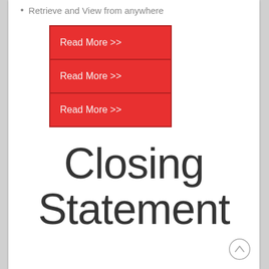Retrieve and View from anywhere
[Figure (illustration): Three red buttons stacked vertically, each labeled 'Read More >>']
Closing Statement